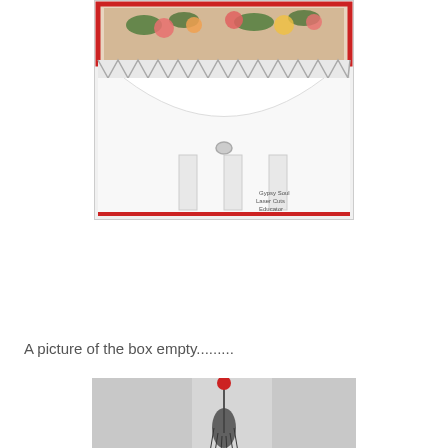[Figure (photo): A white bag/box with floral red-bordered decorative paper on top and lace trim, shown from behind with straps visible. Watermark text visible in lower right.]
A picture of the box empty.........
[Figure (photo): A grayscale photo showing a decorative tassel or ornament hanging, with a red accent at the top.]